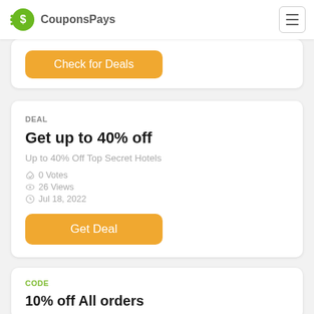CouponsPays
[Figure (screenshot): Partial card showing Check for Deals orange button]
DEAL
Get up to 40% off
Up to 40% Off Top Secret Hotels
0 Votes
26 Views
Jul 18, 2022
Get Deal
CODE
10% off All orders